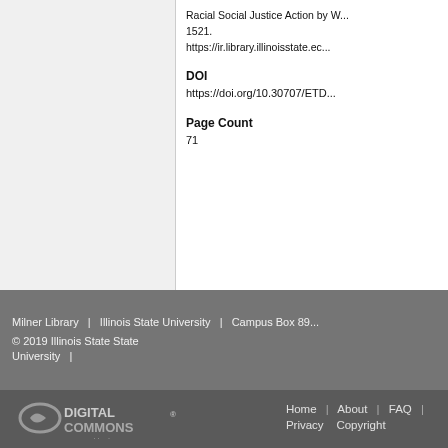Racial Social Justice Action by W... 1521. https://ir.library.illinoisstate.ec...
DOI
https://doi.org/10.30707/ETD...
Page Count
71
Milner Library | Illinois State University | Campus Box 89...
© 2019 Illinois State University |
Home | About | FAQ | Privacy  Copyright